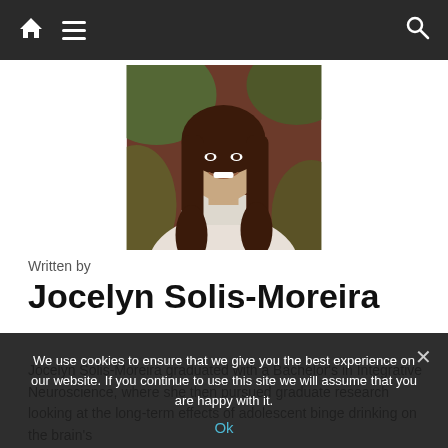Navigation bar with home icon, hamburger menu, and search icon
[Figure (photo): Profile photo of Jocelyn Solis-Moreira, a young woman with long dark hair wearing a white shirt, smiling, with a blurred outdoor background]
Written by
Jocelyn Solis-Moreira
Jocelyn Solis-Moreira graduated with a Bachelor's in Integrative Neuroscience, where she then pursued graduate research looking at the long-term effects of adolescent binge drinking on the brain's
We use cookies to ensure that we give you the best experience on our website. If you continue to use this site we will assume that you are happy with it.
Ok